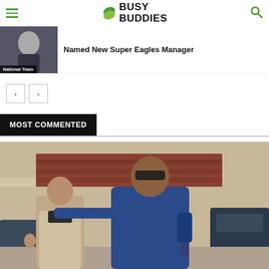Busy Buddies
Named New Super Eagles Manager
National Team
MOST COMMENTED
[Figure (photo): Two men posing together outdoors, one shorter bald man giving thumbs up, one taller muscular man in navy blue v-neck t-shirt with sunglasses, standing in front of vehicles and a building with terracotta roof tiles]